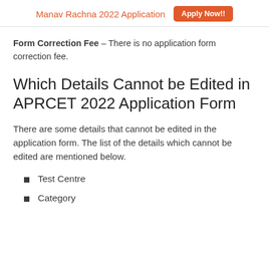Manav Rachna 2022 Application  Apply Now!!
Form Correction Fee – There is no application form correction fee.
Which Details Cannot be Edited in APRCET 2022 Application Form
There are some details that cannot be edited in the application form. The list of the details which cannot be edited are mentioned below.
Test Centre
Category